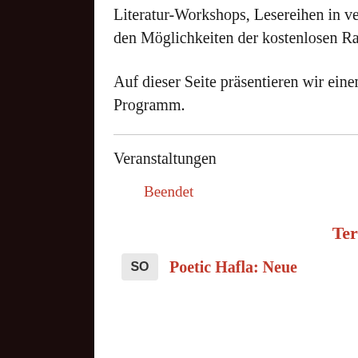Literatur-Workshops, Lesereihen in verschiedenen Sprachen und Buchpräsentationen. Mehr zu den Möglichkeiten der kostenlosen Raumnutzung erfahren Sie hier.
Auf dieser Seite präsentieren wir einen nicht vollständigen Einblick in unser vergangenes Programm.
Veranstaltungen
Beendet
Termin Informationen:
SO  Poetic Hafla: Neue